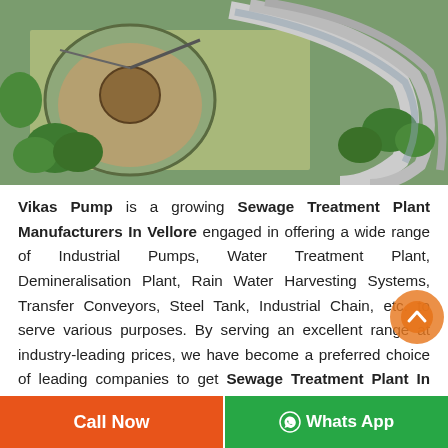[Figure (photo): Aerial view of a sewage treatment plant with circular settling tanks, concrete channels, water, and surrounding green trees]
Vikas Pump is a growing Sewage Treatment Plant Manufacturers In Vellore engaged in offering a wide range of Industrial Pumps, Water Treatment Plant, Demineralisation Plant, Rain Water Harvesting Systems, Transfer Conveyors, Steel Tank, Industrial Chain, etc. to serve various purposes. By serving an excellent range at industry-leading prices, we have become a preferred choice of leading companies to get Sewage Treatment Plant In Vellore. We stand behind our
Call Now | WhatsApp